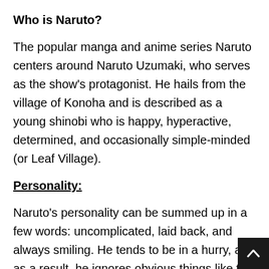Who is Naruto?
The popular manga and anime series Naruto centers around Naruto Uzumaki, who serves as the show’s protagonist. He hails from the village of Konoha and is described as a young shinobi who is happy, hyperactive, determined, and occasionally simple-minded (or Leaf Village).
Personality:
Naruto’s personality can be summed up in a few words: uncomplicated, laid back, and always smiling. He tends to be in a hurry, and as a result, he ignores obvious things like the fact that Hinata is always shy around him. In the early episodes of the series, Naruto has a lot of fun and enjoys playing pranks on his neighbors and other villages. The result of this is typically a reprimand from IrukaUmino. Later o Naruto admits that he participated in those pranks bec